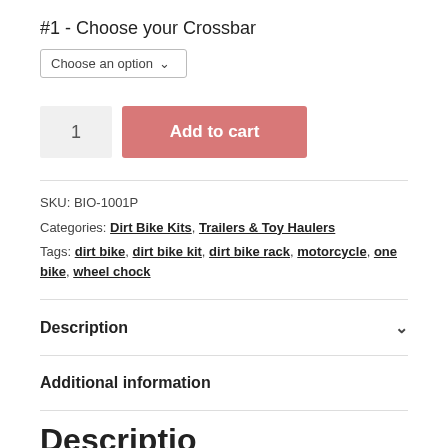#1 - Choose your Crossbar
Choose an option
1  Add to cart
SKU: BIO-1001P
Categories: Dirt Bike Kits, Trailers & Toy Haulers
Tags: dirt bike, dirt bike kit, dirt bike rack, motorcycle, one bike, wheel chock
Description
Additional information
Description